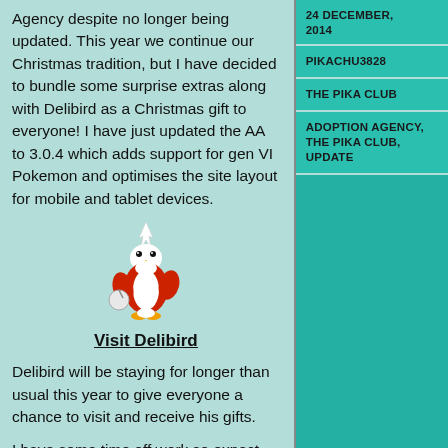Agency despite no longer being updated. This year we continue our Christmas tradition, but I have decided to bundle some surprise extras along with Delibird as a Christmas gift to everyone! I have just updated the AA to 3.0.4 which adds support for gen VI Pokemon and optimises the site layout for mobile and tablet devices.
[Figure (illustration): Pixel art of Delibird, a red penguin Pokemon wearing a white Santa hat and holding a bag]
Visit Delibird
Delibird will be staying for longer than usual this year to give everyone a chance to visit and receive his gifts.
I have some time off work so expect some more surprises in the coming days between now and early 2015! Since I am adding to code that has not been
24 DECEMBER, 2014
PIKACHU3828
THE PIKA CLUB
ADOPTION AGENCY, THE PIKA CLUB, UPDATE